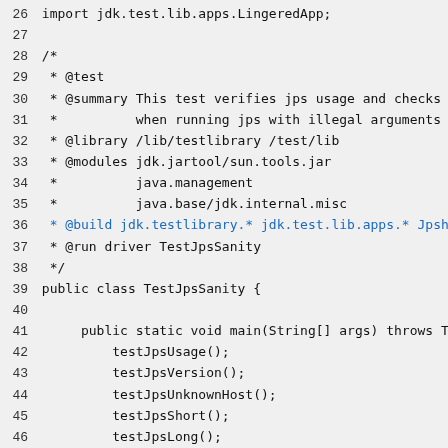Source code listing lines 26-55, Java file TestJpsSanity.java